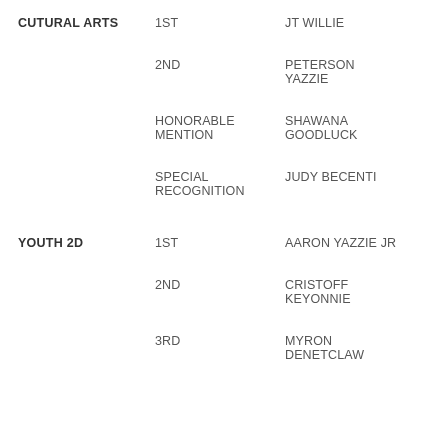| Category | Place | Name |
| --- | --- | --- |
| CUTURAL ARTS | 1ST | JT WILLIE |
|  | 2ND | PETERSON YAZZIE |
|  | HONORABLE MENTION | SHAWANA GOODLUCK |
|  | SPECIAL RECOGNITION | JUDY BECENTI |
| YOUTH 2D | 1ST | AARON YAZZIE JR |
|  | 2ND | CRISTOFF KEYONNIE |
|  | 3RD | MYRON DENETCLAW |